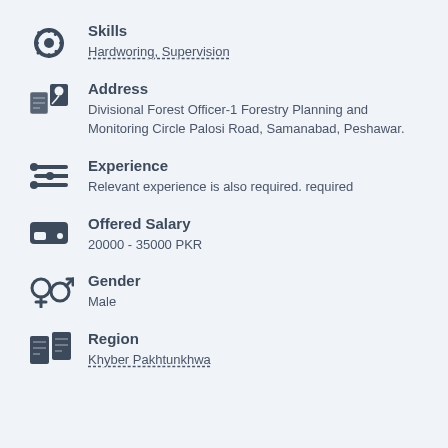Skills
Hardworing, Supervision
Address
Divisional Forest Officer-1 Forestry Planning and Monitoring Circle Palosi Road, Samanabad, Peshawar.
Experience
Relevant experience is also required. required
Offered Salary
20000 - 35000 PKR
Gender
Male
Region
Khyber Pakhtunkhwa